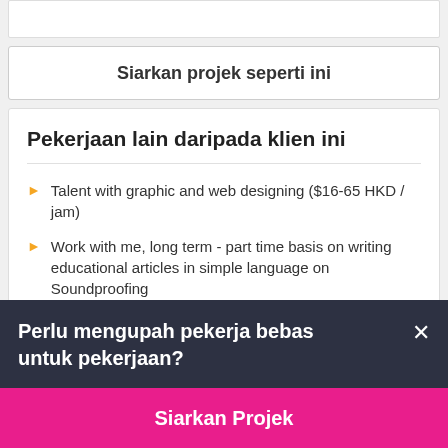Siarkan projek seperti ini
Pekerjaan lain daripada klien ini
Talent with graphic and web designing ($16-65 HKD / jam)
Work with me, long term - part time basis on writing educational articles in simple language on Soundproofing
Perlu mengupah pekerja bebas untuk pekerjaan?
Siarkan Projek